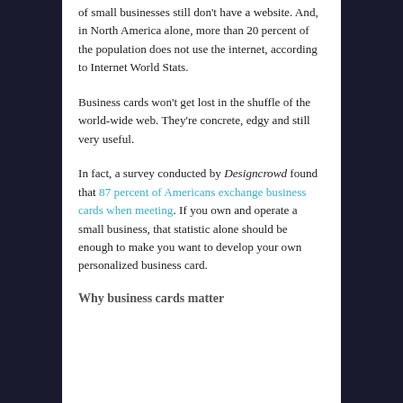of small businesses still don't have a website. And, in North America alone, more than 20 percent of the population does not use the internet, according to Internet World Stats.
Business cards won't get lost in the shuffle of the world-wide web. They're concrete, edgy and still very useful.
In fact, a survey conducted by Designcrowd found that 87 percent of Americans exchange business cards when meeting. If you own and operate a small business, that statistic alone should be enough to make you want to develop your own personalized business card.
Why business cards matter